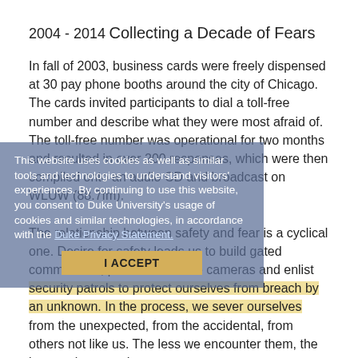2004 - 2014
Collecting a Decade of Fears
In fall of 2003, business cards were freely dispensed at 30 pay phone booths around the city of Chicago. The cards invited participants to dial a toll-free number and describe what they were most afraid of. The toll-free number was operational for two months and resulted in over 200 responses, which were then compiled onto an audio CD and broadcast on WLUW (88.7fm).

The relationship between safety and fear is a cyclical one. Desire for safety leads us to build gated communities, post surveillance cameras and enlist security patrols to protect ourselves from breach by an unknown. In the process, we sever ourselves from the unexpected, from the accidental, from others not like us. The less we encounter them, the less we know and
This website uses cookies as well as similar tools and technologies to understand visitors' experiences. By continuing to use this website, you consent to Duke University's usage of cookies and similar technologies, in accordance with the Duke Privacy Statement.
I ACCEPT